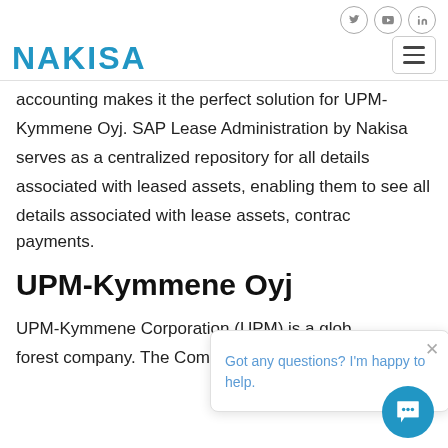NAKISA
accounting makes it the perfect solution for UPM-Kymmene Oyj. SAP Lease Administration by Nakisa serves as a centralized repository for all details associated with leased assets, enabling them to see all details associated with lease assets, contracts and payments.
UPM-Kymmene Oyj
UPM-Kymmene Corporation (UPM) is a global forest company. The Company's segments